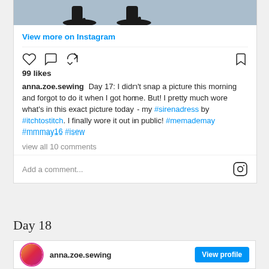[Figure (photo): Cropped photo showing feet in black high heels on a grey/blue surface]
View more on Instagram
99 likes
anna.zoe.sewing Day 17: I didn't snap a picture this morning and forgot to do it when I got home. But! I pretty much wore what's in this exact picture today - my #sirenadress by #itchtostitch. I finally wore it out in public! #memademay #mmmay16 #isew
view all 10 comments
Add a comment...
Day 18
anna.zoe.sewing  View profile